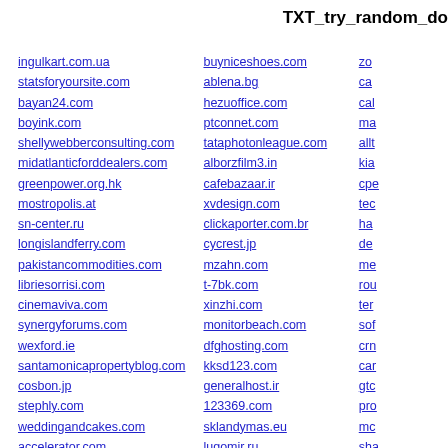TXT_try_random_do
ingulkart.com.ua
statsforyoursite.com
bayan24.com
boyink.com
shellywebberconsulting.com
midatlanticforddealers.com
greenpower.org.hk
mostropolis.at
sn-center.ru
longislandferry.com
pakistancommodities.com
libriesorrisi.com
cinemaviva.com
synergyforums.com
wexford.ie
santamonicapropertyblog.com
cosbon.jp
stephly.com
weddingandcakes.com
accelerator.com
ansaid.com
braves.com
buyniceshoes.com
ablena.bg
hezuoffice.com
ptconnet.com
tataphotonleague.com
alborzfilm3.in
cafebazaar.ir
xvdesign.com
clickaporter.com.br
cycrest.jp
mzahn.com
t-7bk.com
xinzhi.com
monitorbeach.com
dfghosting.com
kksd123.com
generalhost.ir
123369.com
sklandymas.eu
lugomir.ru
juaranet.com.br
38case.com